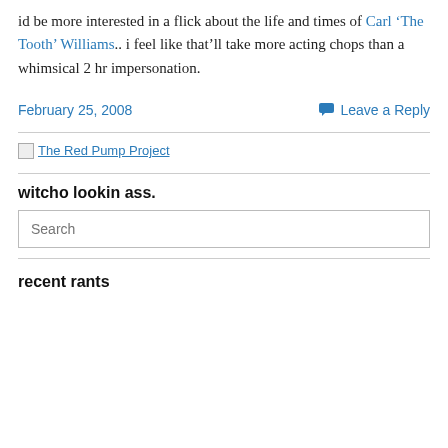id be more interested in a flick about the life and times of Carl ‘The Tooth’ Williams.. i feel like that’ll take more acting chops than a whimsical 2 hr impersonation.
February 25, 2008
Leave a Reply
[Figure (other): Broken image placeholder labeled 'The Red Pump Project']
witcho lookin ass.
Search
recent rants